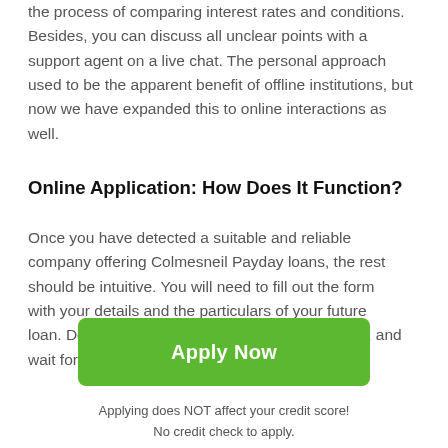the process of comparing interest rates and conditions. Besides, you can discuss all unclear points with a support agent on a live chat. The personal approach used to be the apparent benefit of offline institutions, but now we have expanded this to online interactions as well.
Online Application: How Does It Function?
Once you have detected a suitable and reliable company offering Colmesneil Payday loans, the rest should be intuitive. You will need to fill out the form with your details and the particulars of your future loan. Double-check the accuracy, submit the form, and wait for the approval. Some lenders offer instant approval, while others get back to you
[Figure (other): Green 'Apply Now' button]
Applying does NOT affect your credit score!
No credit check to apply.